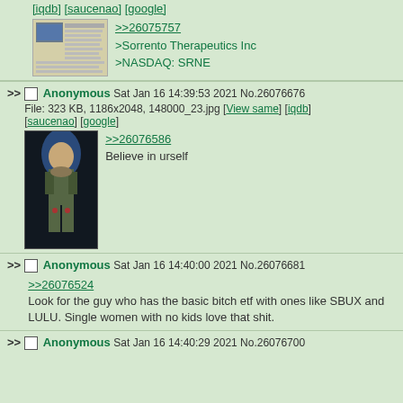[iqdb] [saucenao] [google]
[Figure (screenshot): Thumbnail of a financial document/news article about Sorrento Therapeutics]
>>26075757
>Sorrento Therapeutics Inc
>NASDAQ: SRNE
>> Anonymous Sat Jan 16 14:39:53 2021 No.26076676
File: 323 KB, 1186x2048, 148000_23.jpg [View same] [iqdb] [saucenao] [google]
[Figure (illustration): Dark painting of a Native American figure in traditional armor/regalia]
>>26076586
Believe in urself
>> Anonymous Sat Jan 16 14:40:00 2021 No.26076681
>>26076524
Look for the guy who has the basic bitch etf with ones like SBUX and LULU. Single women with no kids love that shit.
>> Anonymous Sat Jan 16 14:40:29 2021 No.26076700